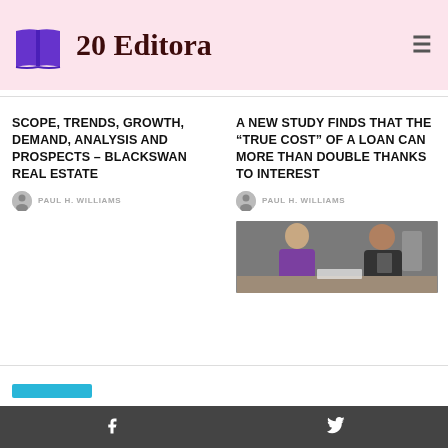[Figure (logo): 20 Editora logo with open book icon on pink background]
SCOPE, TRENDS, GROWTH, DEMAND, ANALYSIS AND PROSPECTS – BLACKSWAN REAL ESTATE
PAUL H. WILLIAMS
A NEW STUDY FINDS THAT THE “TRUE COST” OF A LOAN CAN MORE THAN DOUBLE THANKS TO INTEREST
PAUL H. WILLIAMS
[Figure (photo): Two people at a desk, one in purple top, one in dark shirt, appearing to discuss documents]
Facebook  Twitter